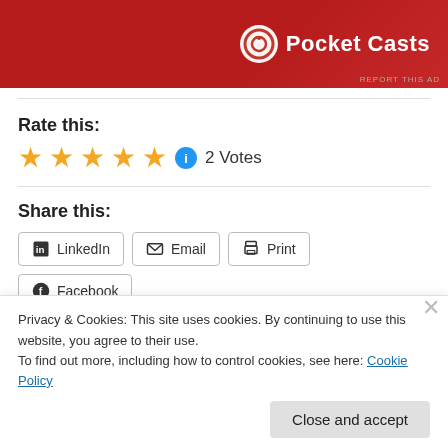[Figure (logo): Pocket Casts advertisement banner with red background and white logo]
Rate this:
★★★★★ 2 Votes
Share this:
LinkedIn  Email  Print  Facebook
Privacy & Cookies: This site uses cookies. By continuing to use this website, you agree to their use. To find out more, including how to control cookies, see here: Cookie Policy
Close and accept